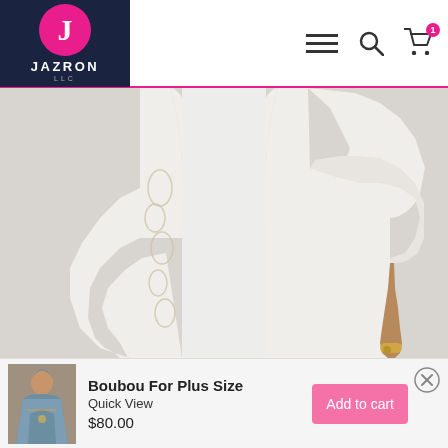[Figure (logo): Jazron LLC logo: white J on pink circle, dark navy background, JAZRON text in white, LLC below]
[Figure (photo): Close-up of a white embroidered garment/boubou, showing the torso and one hand with a bracelet. The garment has floral embroidery along the front and sleeves.]
[Figure (photo): Thumbnail of a woman wearing a colorful boubou/dress]
Boubou For Plus Size
Quick View
$80.00